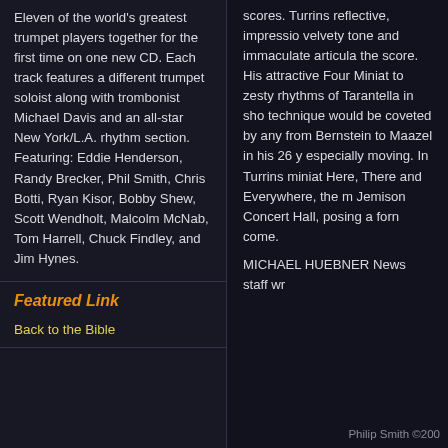Eleven of the world's greatest trumpet players together for the first time on one new CD. Each track features a different trumpet soloist along with trombonist Michael Davis and an all-star New York/L.A. rhythm section. Featuring: Eddie Henderson, Randy Brecker, Phil Smith, Chris Botti, Ryan Kisor, Bobby Shew, Scott Wendholt, Malcolm McNab, Tom Harrell, Chuck Findley, and Jim Hynes.
Featured Link
Back to the Bible
scores. Turrins reflective, impressio velvety tone and immaculate articula the score. His attractive Four Miniat to zesty rhythms of Tarantella in sho technique would be coveted by any from Bernstein to Maazel in his 26 y especially moving. In Turrins miniat Here, There and Everywhere, the m Jemison Concert Hall, posing a forn come.
MICHAEL HUEBNER News staff wr
Philip Smith ©200